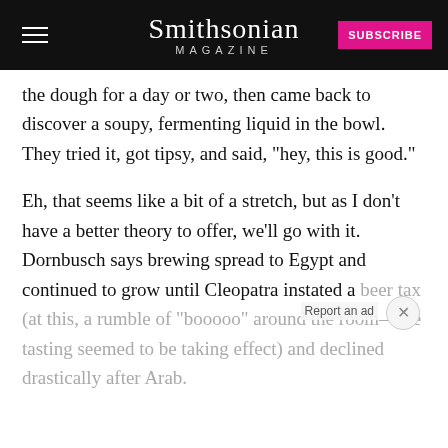Smithsonian MAGAZINE
the dough for a day or two, then came back to discover a soupy, fermenting liquid in the bowl. They tried it, got tipsy, and said, "hey, this is good."
Eh, that seems like a bit of a stretch, but as I don't have a better theory to offer, we'll go with it. Dornbusch says brewing spread to Egypt and continued to grow until Cleopatra instated a beer tax (at this, a rumble of "booooo" around the room—the tasting seemed to be taking effect) and declined drastically after Arab.